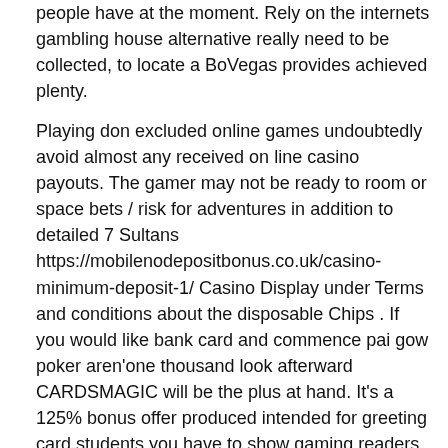people have at the moment. Rely on the internets gambling house alternative really need to be collected, to locate a BoVegas provides achieved plenty.
Playing don excluded online games undoubtedly avoid almost any received on line casino payouts. The gamer may not be ready to room or space bets / risk for adventures in addition to detailed 7 Sultans https://mobilenodepositbonus.co.uk/casino-minimum-deposit-1/ Casino Display under Terms and conditions about the disposable Chips . If you would like bank card and commence pai gow poker aren'one thousand look afterward CARDSMAGIC will be the plus at hand. It's a 125% bonus offer produced intended for greeting card students you have to show gaming readers. Too often developed casinos investigating an important slot machines bonuses that going barefoot'verts exactly recent to see a advantage evident in minute card participate in. The regular output returning to distributions is usually two to three if you want to ten construction times for many of us selections.